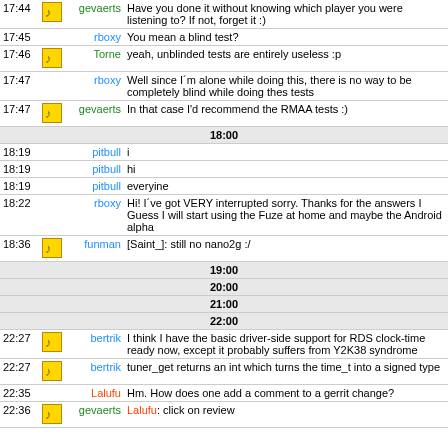| Time | Icon | Nick | Message |
| --- | --- | --- | --- |
| 17:44 | icon | gevaerts | Have you done it without knowing which player you were listening to? If not, forget it :) |
| 17:45 |  | rboxy | You mean a blind test? |
| 17:46 | icon | Torne | yeah, unblinded tests are entirely useless :p |
| 17:47 |  | rboxy | Well since I´m alone while doing this, there is no way to be completely blind while doing thes tests |
| 17:47 | icon | gevaerts | In that case I'd recommend the RMAA tests :) |
|  |  | 18:00 |  |
| 18:19 |  | pitbull | i |
| 18:19 |  | pitbull | hi |
| 18:19 |  | pitbull | everyine |
| 18:22 |  | rboxy | Hi! I´ve got VERY interrupted sorry. Thanks for the answers I Guess I will start using the Fuze at home and maybe the Android alpha |
| 18:36 | icon | funman | [Saint_]: still no nano2g :/ |
|  |  | 19:00 |  |
|  |  | 20:00 |  |
|  |  | 21:00 |  |
|  |  | 22:00 |  |
| 22:27 | icon | bertrik | I think I have the basic driver-side support for RDS clock-time ready now, except it probably suffers from Y2K38 syndrome |
| 22:27 | icon | bertrik | tuner_get returns an int which turns the time_t into a signed type |
| 22:35 |  | Lalufu | Hm. How does one add a comment to a gerrit change? |
| 22:36 | icon | gevaerts | Lalufu: click on review |